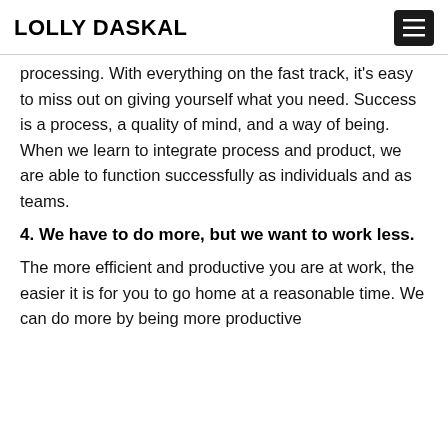LOLLY DASKAL
processing. With everything on the fast track, it's easy to miss out on giving yourself what you need. Success is a process, a quality of mind, and a way of being. When we learn to integrate process and product, we are able to function successfully as individuals and as teams.
4. We have to do more, but we want to work less.
The more efficient and productive you are at work, the easier it is for you to go home at a reasonable time. We can do more by being more productive and working less if we work by best principles.